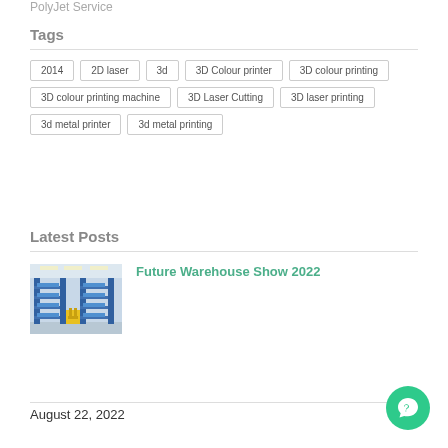PolyJet Service
Tags
2014
2D laser
3d
3D Colour printer
3D colour printing
3D colour printing machine
3D Laser Cutting
3D laser printing
3d metal printer
3d metal printing
Latest Posts
[Figure (photo): Warehouse interior with blue shelving racks and yellow equipment]
Future Warehouse Show 2022
August 22, 2022